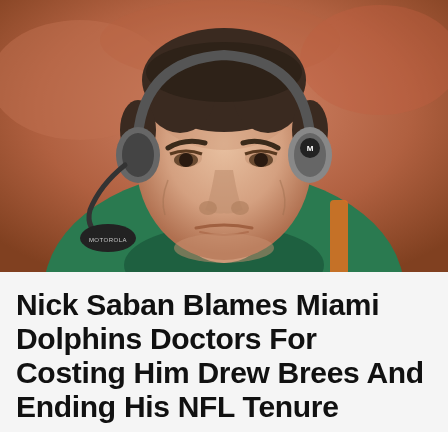[Figure (photo): Close-up photo of a man (Nick Saban) wearing a teal/green Miami Dolphins coaching jacket and a Motorola headset, looking downward with a serious expression. The background is blurred with warm orange/red tones suggesting a crowd.]
Nick Saban Blames Miami Dolphins Doctors For Costing Him Drew Brees And Ending His NFL Tenure